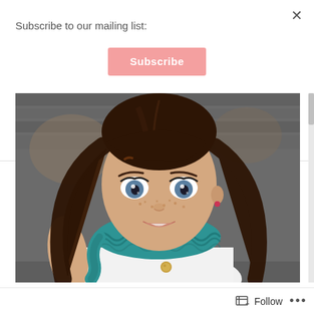Subscribe to our mailing list:
Subscribe
[Figure (photo): Close-up photo of an American Girl doll with brown hair, blue eyes, freckles, wearing a white sleeveless top with a teal/turquoise crocheted cowl scarf and a gold button, seated in front of a wooden bench background.]
Fashionable Grace – A
Follow
...